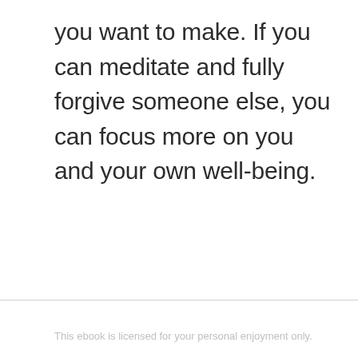you want to make. If you can meditate and fully forgive someone else, you can focus more on you and your own well-being.
This ebook is licensed for your personal enjoyment only.